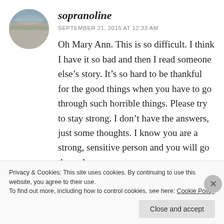[Figure (photo): Circular avatar image showing a landscape with muted tones, sky and land layers.]
sopranoline
SEPTEMBER 21, 2015 AT 12:33 AM
Oh Mary Ann. This is so difficult. I think I have it so bad and then I read someone else’s story. It’s so hard to be thankful for the good things when you have to go through such horrible things. Please try to stay strong. I don’t have the answers, just some thoughts. I know you are a strong, sensitive person and you will go through
Privacy & Cookies: This site uses cookies. By continuing to use this website, you agree to their use.
To find out more, including how to control cookies, see here: Cookie Policy
Close and accept